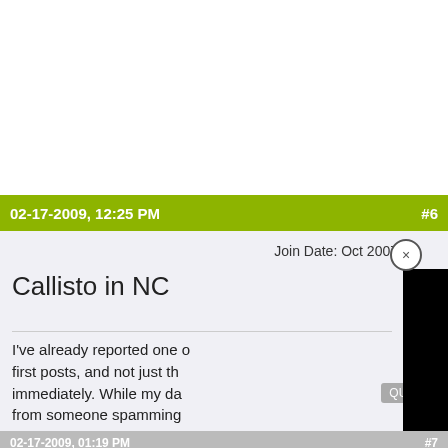02-17-2009, 12:25 PM  #6
Callisto in NC
Join Date: Oct 2007
I've already reported one of first posts, and not just th immediately. While my da from someone spamming
[Figure (screenshot): Video player overlay with cyan play/info button logo on grey background, black bars on sides]
02-17-2009, 01:19 PM  #7